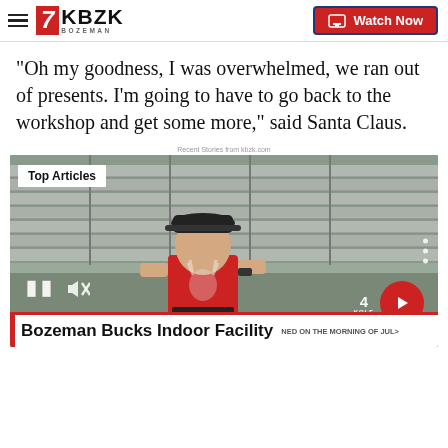7KBZK BOZEMAN — Watch Now
“Oh my goodness, I was overwhelmed, we ran out of presents. I’m going to have to go back to the workshop and get some more,” said Santa Claus.
Recent Stories from kbzk.com
[Figure (screenshot): Video thumbnail showing a young man in a red Milwaukee Bucks t-shirt sitting in bleachers at a sports facility. Overlay shows 'Top Articles' badge, pause/mute controls, next arrow button, and lower-third ticker reading 'Bozeman Bucks Indoor Facility'.]